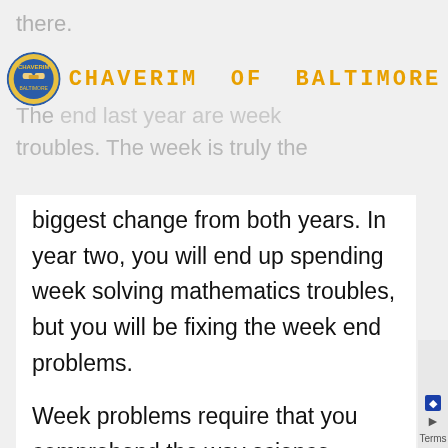there.
[Figure (logo): Chaverim of Baltimore circular logo with handshake graphic]
CHAVERIM OF BALTIMORE
The end last year are week troubles. The week is truly the biggest change from both years. In year two, you will end up spending week solving mathematics troubles, but you will be fixing the week end problems.
Week problems require that you comprehend the way science works. They make you develop a logical layout of thought in order to resolve the issue.